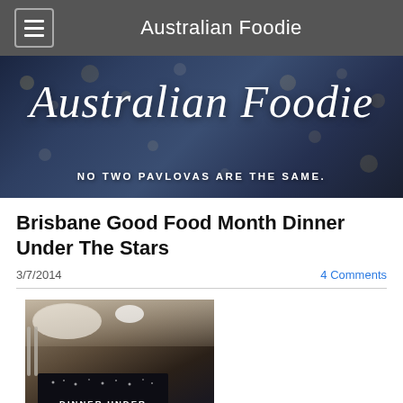Australian Foodie
[Figure (illustration): Australian Foodie blog banner with cursive script title 'Australian Foodie' and tagline 'NO TWO PAVLOVAS ARE THE SAME.' on a dark blue bokeh restaurant background]
Brisbane Good Food Month Dinner Under The Stars
3/7/2014
4 Comments
[Figure (photo): A table setting with a charcuterie board, plates, cutlery, and a black menu card reading 'DINNER UNDER THE STARS']